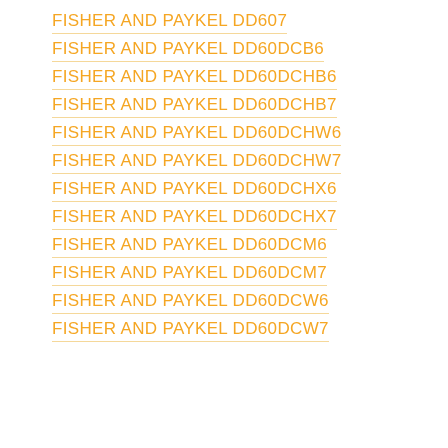FISHER AND PAYKEL DD607
FISHER AND PAYKEL DD60DCB6
FISHER AND PAYKEL DD60DCHB6
FISHER AND PAYKEL DD60DCHB7
FISHER AND PAYKEL DD60DCHW6
FISHER AND PAYKEL DD60DCHW7
FISHER AND PAYKEL DD60DCHX6
FISHER AND PAYKEL DD60DCHX7
FISHER AND PAYKEL DD60DCM6
FISHER AND PAYKEL DD60DCM7
FISHER AND PAYKEL DD60DCW6
FISHER AND PAYKEL DD60DCW7